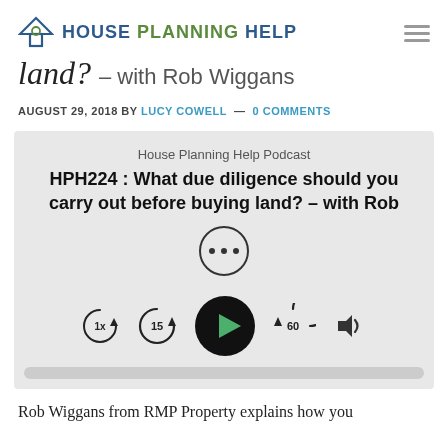House Planning Help
land? – with Rob Wiggans
AUGUST 29, 2018 BY LUCY COWELL — 0 COMMENTS
[Figure (screenshot): Podcast audio player widget showing 'House Planning Help Podcast' label, title 'HPH224 : What due diligence should you carry out before buying land? – with Rob', a more-options button (three dots), playback controls including 1x speed, rewind 15s, play button, forward 60s, and volume button, plus a progress bar at the bottom.]
Rob Wiggans from RMP Property explains how you